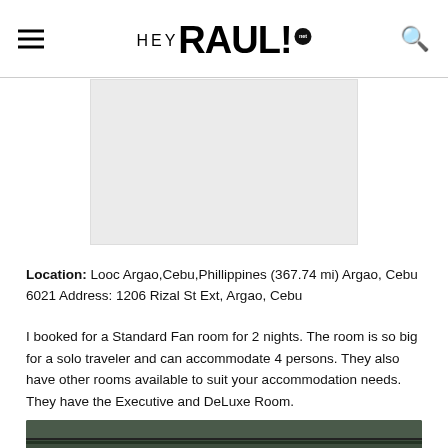HeyRaul.net
[Figure (other): Advertisement placeholder image (gray rectangle)]
Location:  Looc Argao,Cebu,Phillippines (367.74 mi) Argao, Cebu 6021 Address: 1206 Rizal St Ext, Argao, Cebu
I booked for a Standard Fan room for 2 nights. The room is so big for a solo traveler and can accommodate 4 persons. They also have other rooms available to suit your accommodation needs. They have the Executive and DeLuxe Room.
[Figure (photo): Partial photo of a room interior, showing ceiling and green walls]